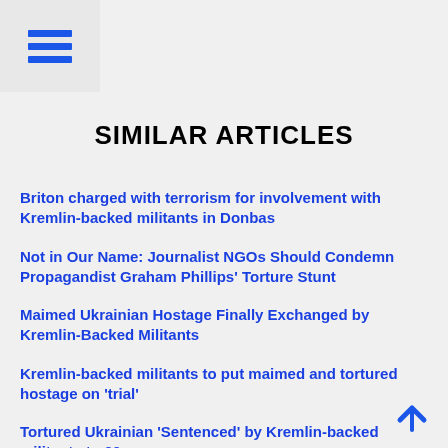≡
SIMILAR ARTICLES
Briton charged with terrorism for involvement with Kremlin-backed militants in Donbas
Not in Our Name: Journalist NGOs Should Condemn Propagandist Graham Phillips' Torture Stunt
Maimed Ukrainian Hostage Finally Exchanged by Kremlin-Backed Militants
Kremlin-backed militants to put maimed and tortured hostage on 'trial'
Tortured Ukrainian 'Sentenced' by Kremlin-backed militants to 30 years
Donbas militants could sentence Ukrainian hostages to death for 'spying'
Kremlin-backed Donbas militants threaten to execute Ukrainian prisoners
Praised on Russian radio for war crimes in Crimea & Donbas